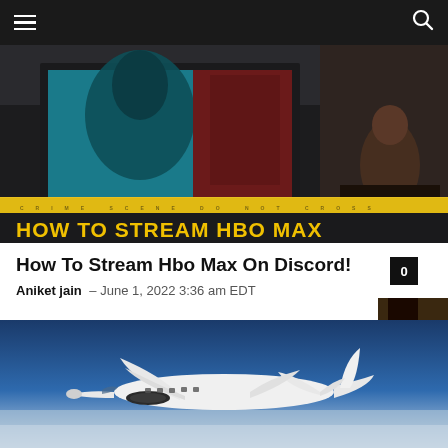Navigation bar with hamburger menu and search icon
[Figure (photo): Hero image with dark room, TV screen showing a figure, yellow crime tape across the middle, and bold yellow text at the bottom reading 'HOW TO STREAM HBO MAX']
How To Stream Hbo Max On Discord!
Aniket jain – June 1, 2022 3:36 am EDT  0
[Figure (photo): White private jet flying through blue sky with hazy atmosphere below]